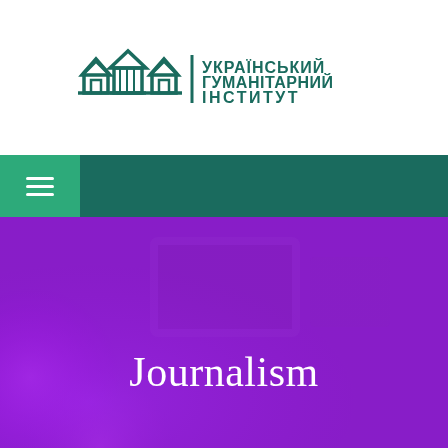[Figure (logo): Ukrainian Humanitarian Institute logo with stylized building/house icons in teal and Ukrainian text УКРАЇНСЬКИЙ ГУМАНІТАРНИЙ ІНСТИТУТ]
[Figure (screenshot): Navigation bar with dark teal background and a lighter teal hamburger menu button on the left]
[Figure (photo): Hero banner with purple/violet overlay over a blurred photo of camera equipment/broadcasting gear, with the text 'Journalism' centered in white]
Journalism